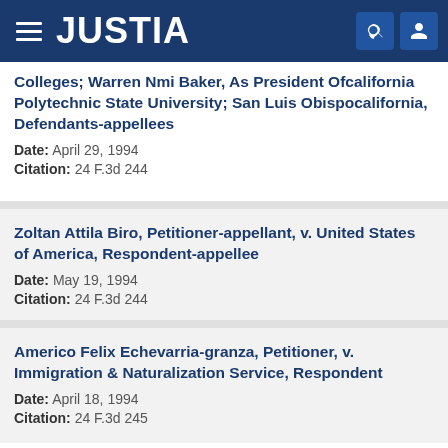JUSTIA
Colleges; Warren Nmi Baker, As President Ofcalifornia Polytechnic State University; San Luis Obispocalifornia, Defendants-appellees
Date: April 29, 1994
Citation: 24 F.3d 244
Zoltan Attila Biro, Petitioner-appellant, v. United States of America, Respondent-appellee
Date: May 19, 1994
Citation: 24 F.3d 244
Americo Felix Echevarria-granza, Petitioner, v. Immigration & Naturalization Service, Respondent
Date: April 18, 1994
Citation: 24 F.3d 245